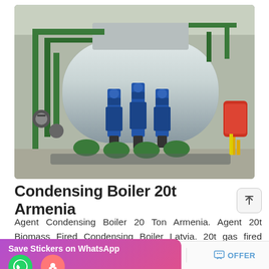[Figure (photo): Industrial condensing boiler installation in Armenia showing a large horizontal cylindrical steel boiler with multiple green pipe fittings, blue pumps, and a red/yellow burner assembly on the right side, inside a warehouse-like building.]
Condensing Boiler 20t Armenia
Agent Condensing Boiler 20 Ton Armenia. Agent 20t Biomass Fired Condensing Boiler Latvia. 20t gas fired Boiler Azerbaijan. In Lithuania. 3ton 10bar steam Oil steam 3ton 10bar best biomas…